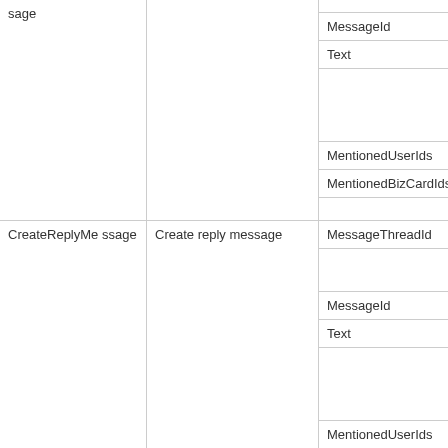| Command | Description | Parameters |
| --- | --- | --- |
| sage |  | MessageId
Text
MentionedUserIds
MentionedBizCardIds |
| CreateReplyMessage ssage | Create reply message | MessageThreadId
MessageId
Text
MentionedUserIds |